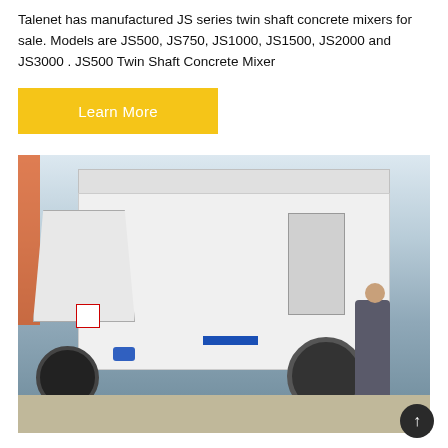Talenet has manufactured JS series twin shaft concrete mixers for sale. Models are JS500, JS750, JS1000, JS1500, JS2000 and JS3000 . JS500 Twin Shaft Concrete Mixer
[Figure (other): Yellow 'Learn More' button]
[Figure (photo): Photo of a trailer-mounted concrete pump machine, white in color with a hopper on the left, control panel on the right side, large wheel visible, and a worker in grey overalls inspecting the machine. An orange crane structure is visible in the background on the left.]